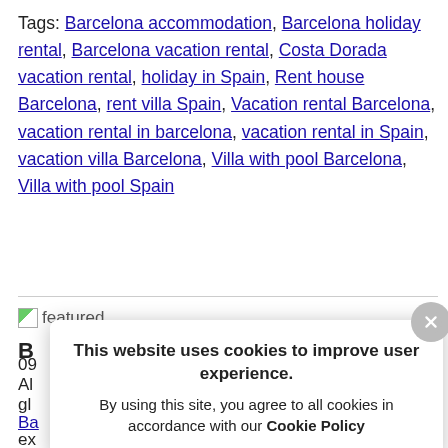Tags: Barcelona accommodation, Barcelona holiday rental, Barcelona vacation rental, Costa Dorada vacation rental, holiday in Spain, Rent house Barcelona, rent villa Spain, Vacation rental Barcelona, vacation rental in barcelona, vacation rental in Spain, vacation villa Barcelona, Villa with pool Barcelona, Villa with pool Spain
[Figure (screenshot): A broken image icon followed by the text 'featured']
B[arcelona's Tallest Building and...]
09[...]
Al[...]
gl[...]
Ba[...] t
ex[...]
ce[...]
This website uses cookies to improve user experience.
By using this site, you agree to all cookies in accordance with our Cookie Policy